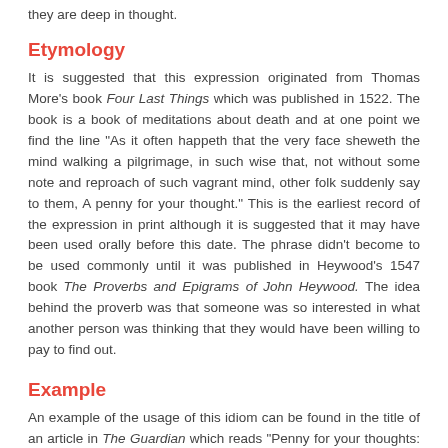they are deep in thought.
Etymology
It is suggested that this expression originated from Thomas More's book Four Last Things which was published in 1522. The book is a book of meditations about death and at one point we find the line "As it often happeth that the very face sheweth the mind walking a pilgrimage, in such wise that, not without some note and reproach of such vagrant mind, other folk suddenly say to them, A penny for your thought." This is the earliest record of the expression in print although it is suggested that it may have been used orally before this date. The phrase didn't become to be used commonly until it was published in Heywood's 1547 book The Proverbs and Epigrams of John Heywood. The idea behind the proverb was that someone was so interested in what another person was thinking that they would have been willing to pay to find out.
Example
An example of the usage of this idiom can be found in the title of an article in The Guardian which reads "Penny for your thoughts: Could micro-payments save the media industry?" In